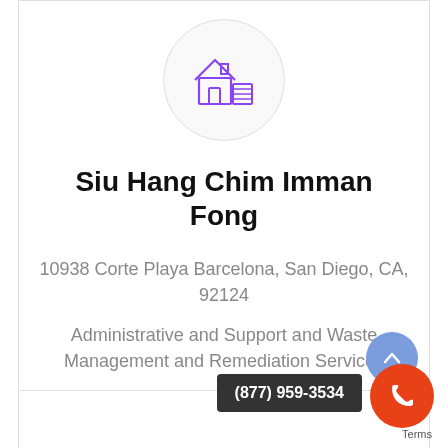[Figure (illustration): House/real estate icon with purple/violet color inside a light gray circle]
Siu Hang Chim Imman Fong
10938 Corte Playa Barcelona, San Diego, CA, 92124
Administrative and Support and Waste Management and Remediation Services
View Details
(877) 959-3534